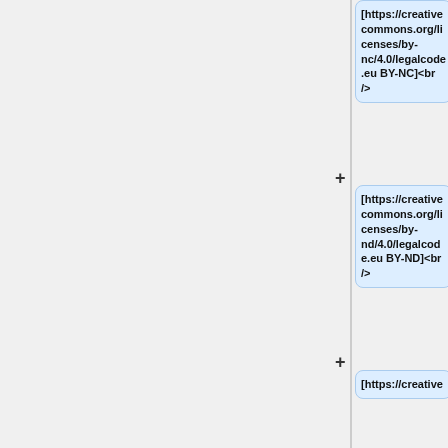[https://creativecommons.org/licenses/by-nc/4.0/legalcode.eu BY-NC]<br />
[https://creativecommons.org/licenses/by-nd/4.0/legalcode.eu BY-ND]<br />
[https://creativecommons.org/licenses/by-nc-nd/4.0/legalcode.eu BY-NC-ND]
[https://creative